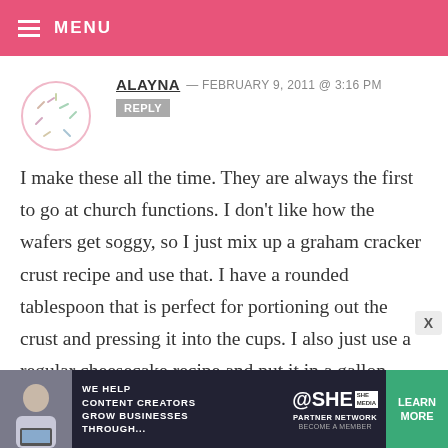MENU
ALAYNA — FEBRUARY 9, 2011 @ 3:16 PM  REPLY
I make these all the time. They are always the first to go at church functions. I don't like how the wafers get soggy, so I just mix up a graham cracker crust recipe and use that. I have a rounded tablespoon that is perfect for portioning out the crust and pressing it into the cups. I also just use a regular cheesecake recipe and put it in a gallon ziploc bag and snip a
[Figure (infographic): Advertisement banner: SHE Partner Network — We help content creators grow businesses through... Learn More button]